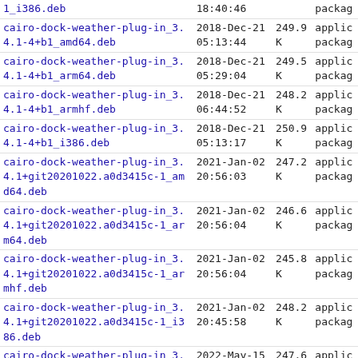| Name | Date | Size | Type |
| --- | --- | --- | --- |
| 1_i386.deb | 18:40:46 |  | packag |
| cairo-dock-weather-plug-in_3.4.1-4+b1_amd64.deb | 2018-Dec-21
05:13:44 | 249.9K | applic
packag |
| cairo-dock-weather-plug-in_3.4.1-4+b1_arm64.deb | 2018-Dec-21
05:29:04 | 249.5K | applic
packag |
| cairo-dock-weather-plug-in_3.4.1-4+b1_armhf.deb | 2018-Dec-21
06:44:52 | 248.2K | applic
packag |
| cairo-dock-weather-plug-in_3.4.1-4+b1_i386.deb | 2018-Dec-21
05:13:17 | 250.9K | applic
packag |
| cairo-dock-weather-plug-in_3.4.1+git20201022.a0d3415c-1_amd64.deb | 2021-Jan-02
20:56:03 | 247.2K | applic
packag |
| cairo-dock-weather-plug-in_3.4.1+git20201022.a0d3415c-1_arm64.deb | 2021-Jan-02
20:56:04 | 246.6K | applic
packag |
| cairo-dock-weather-plug-in_3.4.1+git20201022.a0d3415c-1_armhf.deb | 2021-Jan-02
20:56:04 | 245.8K | applic
packag |
| cairo-dock-weather-plug-in_3.4.1+git20201022.a0d3415c-1_i386.deb | 2021-Jan-02
20:45:58 | 248.2K | applic
packag |
| cairo-dock-weather-plug-in_3.4.1+git20201022.a0d3415c-1+b1_amd64.deb | 2022-May-15
20:29:43 | 247.6K | applic
packag |
| cairo-dock-weather-plug-in_3.4.1+git20201022.a0d3415c-1+b1_arm64.deb | 2022-May-15
20:45:21 | 246.9K | applic
packag |
| cairo-dock-weather-plug-in_3.4.1+git20201022.a0d3415c- | 2022-May- |  | applic |